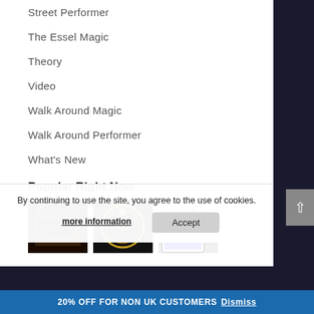Street Performer
The Essel Magic
Theory
Video
Walk Around Magic
Walk Around Performer
What's New
Popular Right Now
[Figure (photo): Three product images: Voodoo Needle, VIP logo, Magic 5 box]
By continuing to use the site, you agree to the use of cookies.
more information
Accept
20% OFF FOR NON UK CUSTOMERS Dismiss